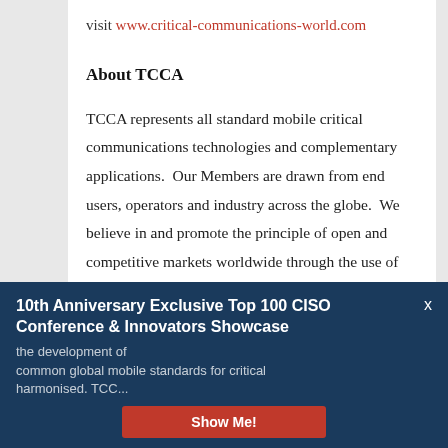visit www.critical-communications-world.com
About TCCA
TCCA represents all standard mobile critical communications technologies and complementary applications.  Our Members are drawn from end users, operators and industry across the globe.  We believe in and promote the principle of open and competitive markets worldwide through the use of open standards and harmonised spectrum.  We maintain and enhance the TETRA Professional Mobile Radio ... the development of common global mobile standards for critical ... TCCA ...
10th Anniversary Exclusive Top 100 CISO Conference & Innovators Showcase
Show Me!